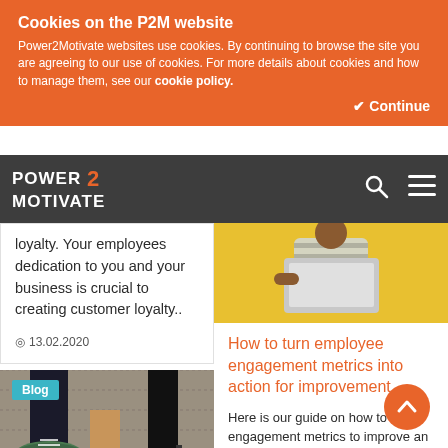Cookies on the P2M website — Power2Motivate websites use cookies. By continuing to browse the site you are agreeing to our use of cookies. For more details about cookies and how to manage them, see our cookie policy. Continue
[Figure (logo): Power2Motivate logo with search and menu icons on dark grey navbar]
loyalty. Your employees dedication to you and your business is crucial to creating customer loyalty..
13.02.2020
[Figure (photo): Photo of feet on carpet — one person wearing green sneakers, one barefoot, one in heels. Blog label badge in teal.]
[Figure (photo): Photo of a person in striped top holding a laptop against a yellow background.]
How to turn employee engagement metrics into action for improvement
Here is our guide on how to use engagement metrics to improve an employee's experience in